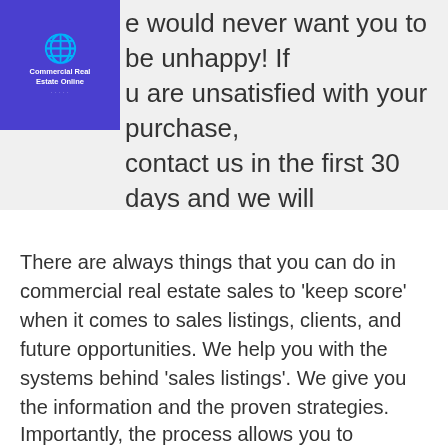[Figure (logo): Commercial Real Estate Online logo — blue square background with globe icon and text]
would never want you to be unhappy! If you are unsatisfied with your purchase, contact us in the first 30 days and we will give you a full refund.
There are always things that you can do in commercial real estate sales to 'keep score' when it comes to sales listings, clients, and future opportunities. We help you with the systems behind 'sales listings'. We give you the information and the proven strategies.
Importantly, the process allows you to